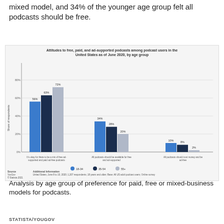mixed model, and 34% of the younger age group felt all podcasts should be free.
[Figure (grouped-bar-chart): Attitudes to free, paid, and ad-supported podcasts among podcast users in the United States as of June 2020, by age group]
Analysis by age group of preference for paid, free or mixed-business models for podcasts.
STATISTA/YOUGOV